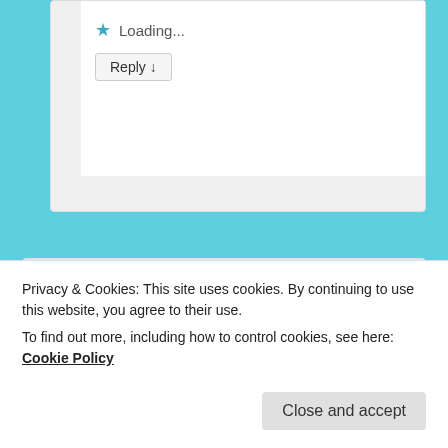Loading...
Reply ↓
Rich Capen on August 11, 2016 at 7:47 pm said:
Thanks for another interesting article Roberta.
In my master spreadsheet, I have added columns
Privacy & Cookies: This site uses cookies. By continuing to use this website, you agree to their use.
To find out more, including how to control cookies, see here: Cookie Policy
Close and accept